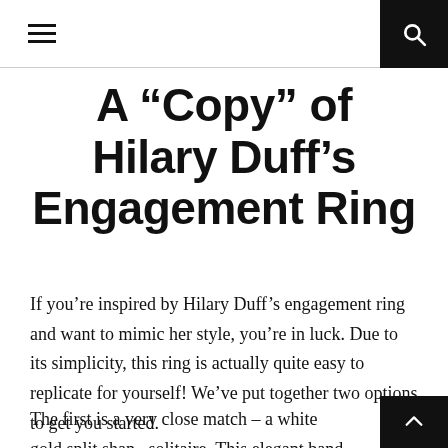Navigation header with hamburger menu and search button
A “Copy” of Hilary Duff’s Engagement Ring
If you’re inspired by Hilary Duff’s engagement ring and want to mimic her style, you’re in luck. Due to its simplicity, this ring is actually quite easy to replicate for yourself! We’ve put together two options to get you started.
The first is a very close match – a white gold split shank solitaire. This elegant band splits slightly as it approaches